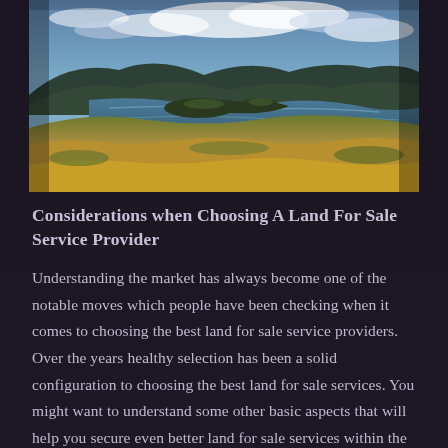[Figure (photo): Aerial landscape photograph showing green and golden grass hills in the foreground, a bay or inlet with calm water in the middle ground, rocky islands and peninsulas, and a dramatic cloudy sky in the background. Lush coastal scenery reminiscent of Ireland or Scotland.]
Considerations when Choosing A Land For Sale Service Provider
Understanding the market has always become one of the notable moves which people have been checking when it comes to choosing the best land for sale service providers. Over the years healthy selection has been a solid configuration to choosing the best land for sale services. You might want to understand some other basic aspects that will help you secure even better land for sale services within the market. If you take a keen consideration after some of the listed measures you might also achieve a solid